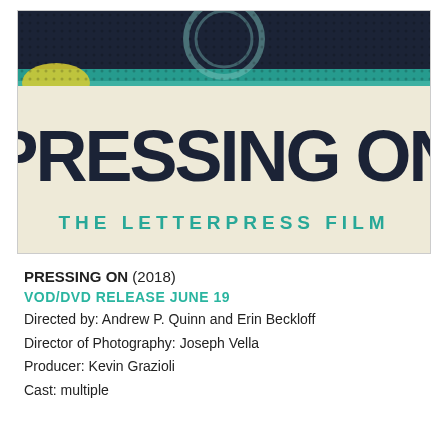[Figure (illustration): Movie poster for 'Pressing On: The Letterpress Film' with dark teal/navy top background with halftone effect, yellow and teal color splashes, cream background with bold dark navy text 'PRESSING ON' and teal subtitle 'THE LETTERPRESS FILM']
PRESSING ON (2018)
VOD/DVD RELEASE JUNE 19
Directed by: Andrew P. Quinn and Erin Beckloff
Director of Photography: Joseph Vella
Producer: Kevin Grazioli
Cast: multiple